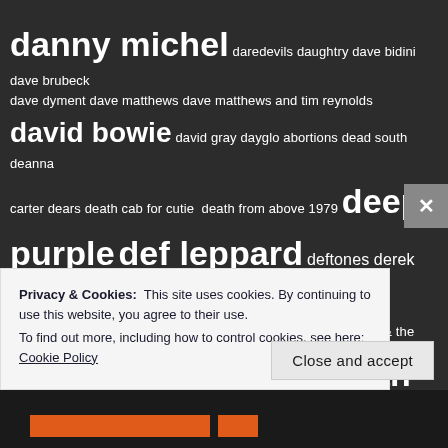danny michel daredevils daughtry dave bidini dave brubeck dave dyment dave matthews dave matthews and tim reynolds david bowie david gray dayglo abortions dead south deanna carter dears death cab for cutie death from above 1979 deep purple def leppard deftones derek kortepeter descendents dexter gordon diana krall diana ross & the supremes dillinger escape plan dinosaur jr. dio diona davies dire straits doja cat dolly parton dolph lundgren don henley don mclean donovan woods doobie brothers doo rag doug gillard dr. dre dragonforce drain sth dream theater drive-by truckers dropkick
[Figure (screenshot): Cookie consent banner overlay with text 'Privacy & Cookies: This site uses cookies. By continuing to use this website, you agree to their use. To find out more, including how to control cookies, see here: Cookie Policy' and a 'Close and accept' button.]